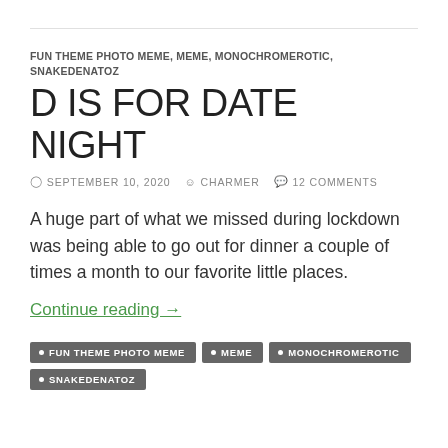FUN THEME PHOTO MEME, MEME, MONOCHROMEROTIC, SNAKEDENATOZ
D IS FOR DATE NIGHT
⊙ SEPTEMBER 10, 2020   👤 CHARMER   💬 12 COMMENTS
A huge part of what we missed during lockdown was being able to go out for dinner a couple of times a month to our favorite little places.
Continue reading →
• FUN THEME PHOTO MEME
• MEME
• MONOCHROMEROTIC
• SNAKEDENATOZ